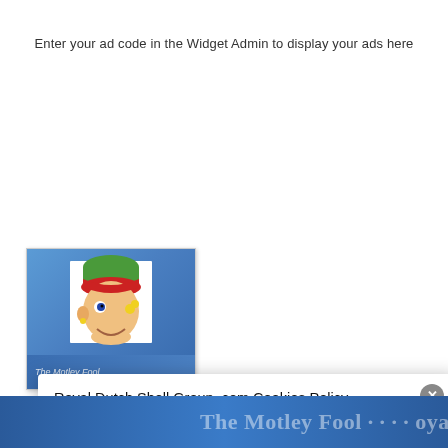Enter your ad code in the Widget Admin to display your ads here
[Figure (logo): The Motley Fool logo/widget showing a cartoon jester face on a blue gradient background]
Royal Dutch Shell Group .com Cookies Policy
Our Website uses cookies to improve your experience. Please visit our Privacy page for more information about cookies and how we use them.